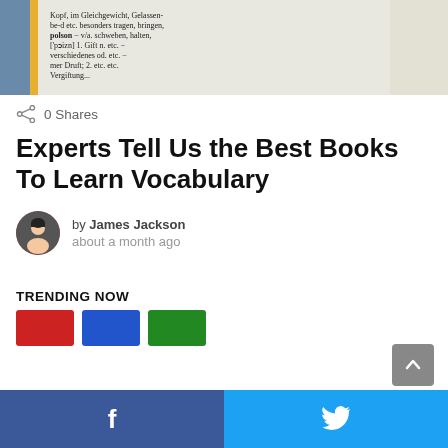[Figure (photo): Close-up of a dictionary page showing German text entries including words like 'polson' and definitions. The page has a yellow/orange accent on the spine.]
0 Shares
Experts Tell Us the Best Books To Learn Vocabulary
by James Jackson
about a month ago
TRENDING NOW